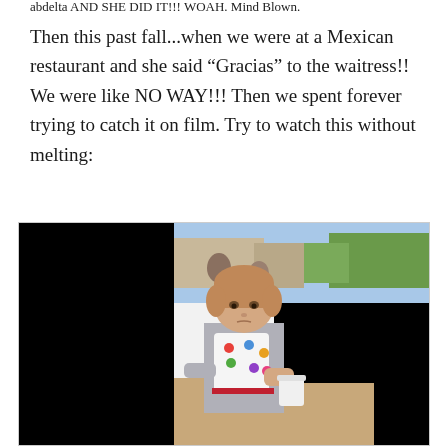abdelta AND SHE DID IT!!! WOAH. Mind Blown.
Then this past fall...when we were at a Mexican restaurant and she said “Gracias” to the waitress!! We were like NO WAY!!! Then we spent forever trying to catch it on film. Try to watch this without melting:
[Figure (photo): Video thumbnail or embedded video showing a young toddler with light brown hair sitting at an outdoor restaurant table, wearing a white polka-dot bib and a grey cardigan, holding a white cup. The video frame has black bars on the left and right sides (letterbox). Background shows an outdoor patio with trees and people.]